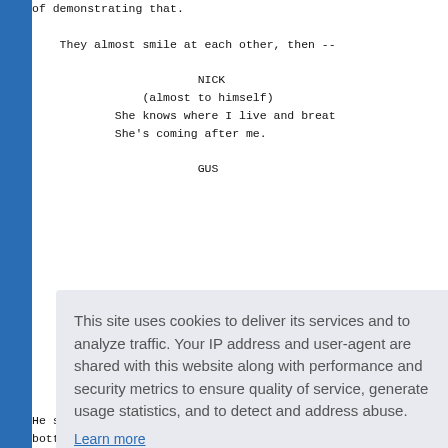of demonstrating that.

    They almost smile at each other, then --

                        NICK
                (almost to himself)
            She knows where I live and breath
            She's coming after me.

                        GUS
                ...:)
            ...en you?
This site uses cookies to deliver its services and to analyze traffic. Your IP address and user-agent are shared with this website along with performance and security metrics to ensure quality of service, generate usage statistics, and to detect and address abuse.
Learn more
Got it!
He sits in front of the TV, watching a lame
bottle of Jack Daniels is half-empty in fr